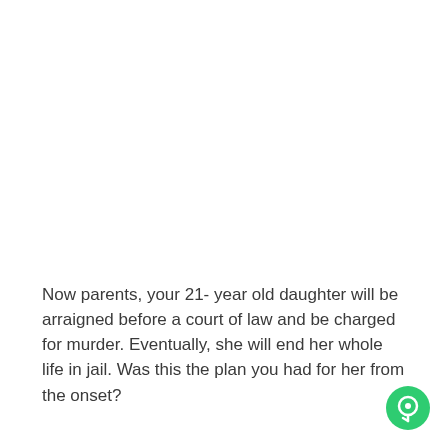Now parents, your 21- year old daughter will be arraigned before a court of law and be charged for murder. Eventually, she will end her whole life in jail. Was this the plan you had for her from the onset?
[Figure (other): Green circular chat/messenger button icon in the bottom-right corner]